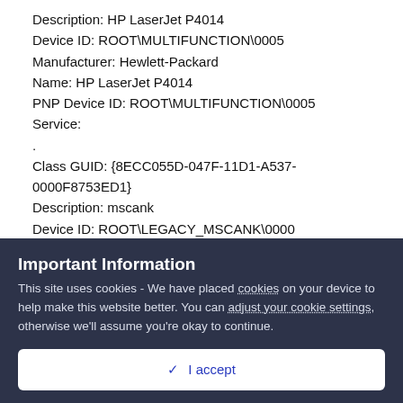Description: HP LaserJet P4014
Device ID: ROOT\MULTIFUNCTION\0005
Manufacturer: Hewlett-Packard
Name: HP LaserJet P4014
PNP Device ID: ROOT\MULTIFUNCTION\0005
Service:
.
Class GUID: {8ECC055D-047F-11D1-A537-0000F8753ED1}
Description: mscank
Device ID: ROOT\LEGACY_MSCANK\0000
Manufacturer:
Name: mscank
PNP Device ID: ROOT\LEGACY_MSCANK\0000
Important Information
This site uses cookies - We have placed cookies on your device to help make this website better. You can adjust your cookie settings, otherwise we'll assume you're okay to continue.
✓  I accept